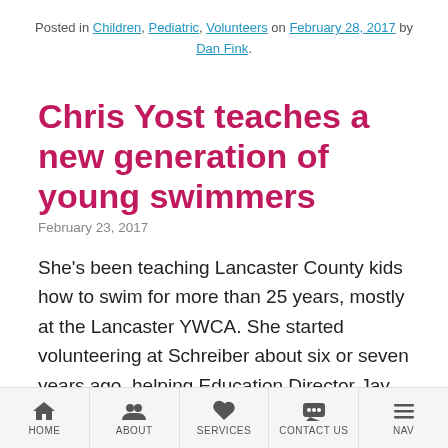Posted in Children, Pediatric, Volunteers on February 28, 2017 by Dan Fink.
Chris Yost teaches a new generation of young swimmers
February 23, 2017
She's been teaching Lancaster County kids how to swim for more than 25 years, mostly at the Lancaster YWCA. She started volunteering at Schreiber about six or seven years ago, helping Education Director Jay Graver in the preschool classroom.
That led to Lisa Gilbert, who used to run Schreiber's
HOME  ABOUT  SERVICES  CONTACT US  NAV